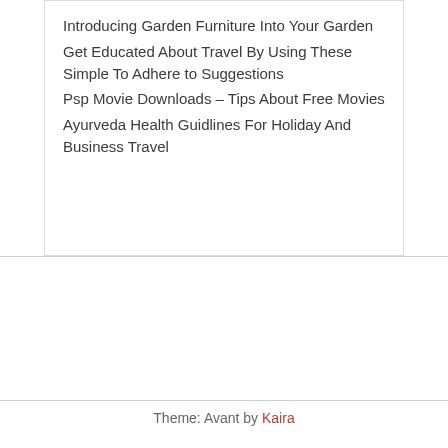Introducing Garden Furniture Into Your Garden
Get Educated About Travel By Using These Simple To Adhere to Suggestions
Psp Movie Downloads – Tips About Free Movies
Ayurveda Health Guidlines For Holiday And Business Travel
Theme: Avant by Kaira